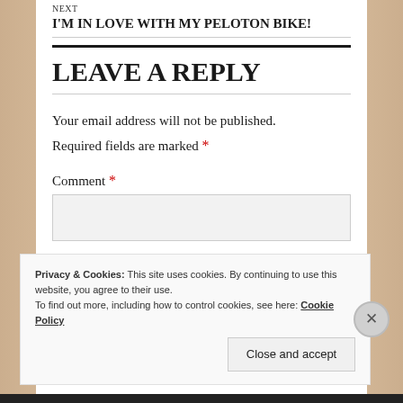I'M IN LOVE WITH MY PELOTON BIKE!
LEAVE A REPLY
Your email address will not be published. Required fields are marked *
Comment *
Privacy & Cookies: This site uses cookies. By continuing to use this website, you agree to their use. To find out more, including how to control cookies, see here: Cookie Policy
Close and accept